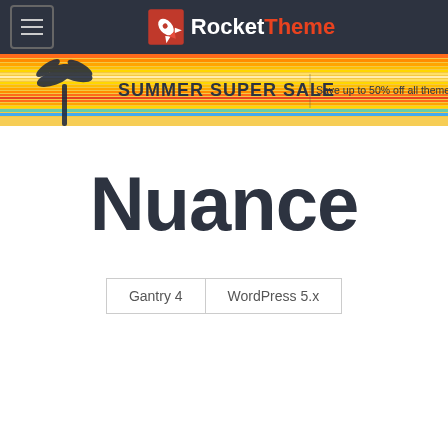RocketTheme
[Figure (infographic): Summer Super Sale banner — Save up to 50% off all themes]
Nuance
Gantry 4   WordPress 5.x